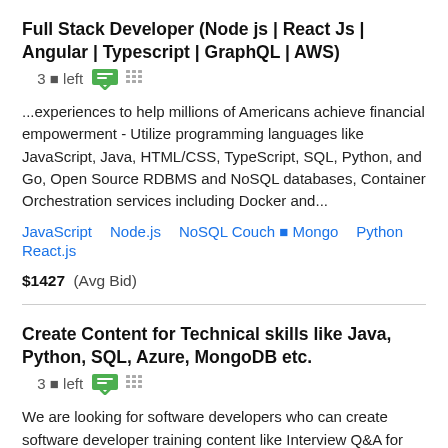Full Stack Developer (Node js | React Js | Angular | Typescript | GraphQL | AWS)  3 🔒 left
...experiences to help millions of Americans achieve financial empowerment - Utilize programming languages like JavaScript, Java, HTML/CSS, TypeScript, SQL, Python, and Go, Open Source RDBMS and NoSQL databases, Container Orchestration services including Docker and...
JavaScript   Node.js   NoSQL Couch 🔒 Mongo   Python   React.js
$1427  (Avg Bid)
Create Content for Technical skills like Java, Python, SQL, Azure, MongoDB etc.  3 🔒 left
We are looking for software developers who can create software developer training content like Interview Q&A for technical skills like Java, C, Python, Angular, Microservices,